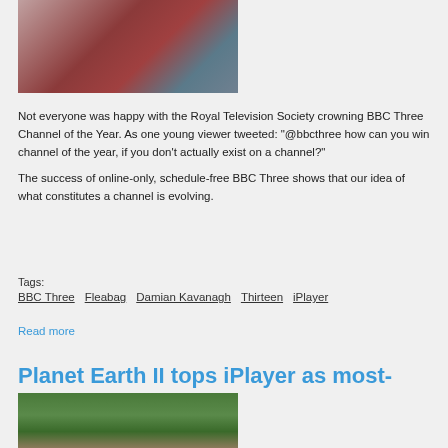[Figure (photo): A woman in a red top photographed indoors, appearing to handle a picture frame, with a colourful background.]
Not everyone was happy with the Royal Television Society crowning BBC Three Channel of the Year. As one young viewer tweeted: "@bbcthree how can you win channel of the year, if you don't actually exist on a channel?"
The success of online-only, schedule-free BBC Three shows that our idea of what constitutes a channel is evolving.
Tags:
BBC Three   Fleabag   Damian Kavanagh   Thirteen   iPlayer
Read more
Planet Earth II tops iPlayer as most-watched
[Figure (photo): Partial image of wildlife, appears to be animals in a natural outdoor setting, green tones.]